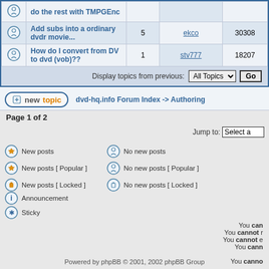|  | Topic | Replies | Last Post By | Views |
| --- | --- | --- | --- | --- |
| (icon) | do the rest with TMPGEnc |  |  |  |
| (icon) | Add subs into a ordinary dvdr movie... | 5 | ekco | 30308 |
| (icon) | How do I convert from DV to dvd (vob)?? | 1 | stv777 | 18207 |
Display topics from previous: All Topics Go
new topic  dvd-hq.info Forum Index -> Authoring
Page 1 of 2
Jump to: Select a
New posts
No new posts
Announcement
New posts [ Popular ]
No new posts [ Popular ]
Sticky
New posts [ Locked ]
No new posts [ Locked ]
You can  You cannot r  You cannot e  You cann  You canno
Powered by phpBB © 2001, 2002 phpBB Group